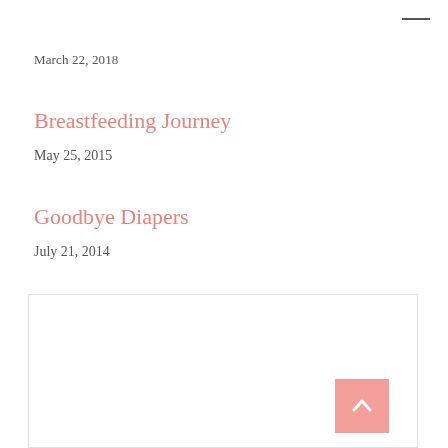March 22, 2018
Breastfeeding Journey
May 25, 2015
Goodbye Diapers
July 21, 2014
[Figure (illustration): Circular avatar logo for 'Story of a Woman' blog featuring an illustrated woman at a vanity]
About Mylene